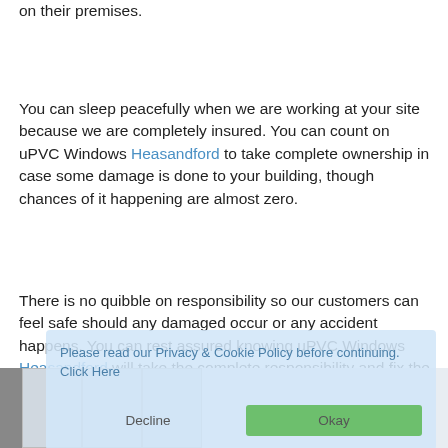on their premises.
You can sleep peacefully when we are working at your site because we are completely insured. You can count on uPVC Windows Heasandford to take complete ownership in case some damage is done to your building, though chances of it happening are almost zero.
There is no quibble on responsibility so our customers can feel safe should any damaged occur or any accident happens. You can rest assured knowing uPVC Windows Heasandford will take the complete responsibility and fix the situation as quickly as possible.
Please read our Privacy & Cookie Policy before continuing.  Click Here
[Figure (screenshot): Bottom portion of a window/product image showing window frames with grey and blue tones]